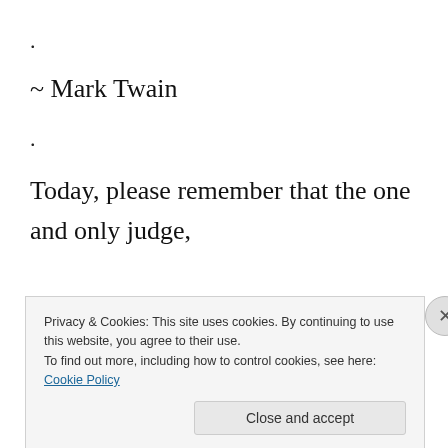.
~ Mark Twain
.
Today, please remember that the one and only judge, the final judge. is not you or any human being living on this planet.
Respect, that inside of every soul there is a unique
Privacy & Cookies: This site uses cookies. By continuing to use this website, you agree to their use. To find out more, including how to control cookies, see here: Cookie Policy
Close and accept